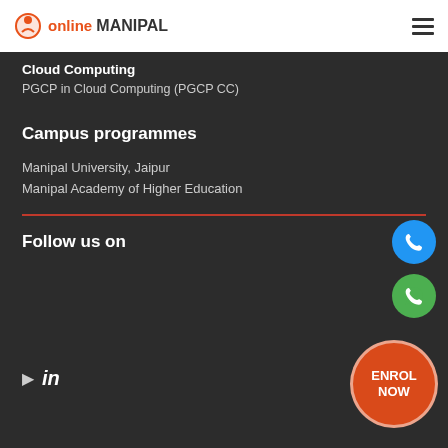online MANIPAL
Cloud Computing
PGCP in Cloud Computing (PGCP CC)
Campus programmes
Manipal University, Jaipur
Manipal Academy of Higher Education
Follow us on
[Figure (other): Phone call button (blue circle with phone icon)]
[Figure (other): WhatsApp button (green circle with phone icon)]
[Figure (other): Social media icons row: play button triangle and LinkedIn 'in' icon]
[Figure (other): ENROL NOW orange circular button]